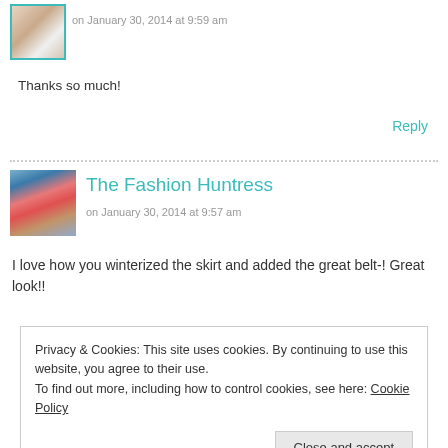[Figure (photo): Small avatar thumbnail of a person with teal/cyan border]
on January 30, 2014 at 9:59 am
Thanks so much!
Reply
[Figure (photo): Avatar photo of a woman with sunglasses wearing a pink jacket, outdoors]
The Fashion Huntress
on January 30, 2014 at 9:57 am
I love how you winterized the skirt and added the great belt-! Great look!!
Privacy & Cookies: This site uses cookies. By continuing to use this website, you agree to their use.
To find out more, including how to control cookies, see here: Cookie Policy
Close and accept